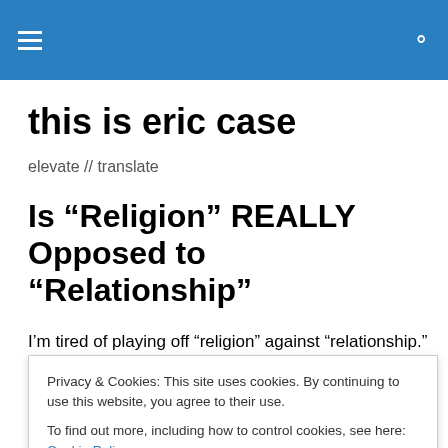this is eric case — elevate // translate
this is eric case
elevate // translate
Is “Religion” REALLY Opposed to “Relationship”
I’m tired of playing off “religion” against “relationship.”
Privacy & Cookies: This site uses cookies. By continuing to use this website, you agree to their use.
To find out more, including how to control cookies, see here: Cookie Policy
Close and accept
This is a false dichotomy for a few different reasons.